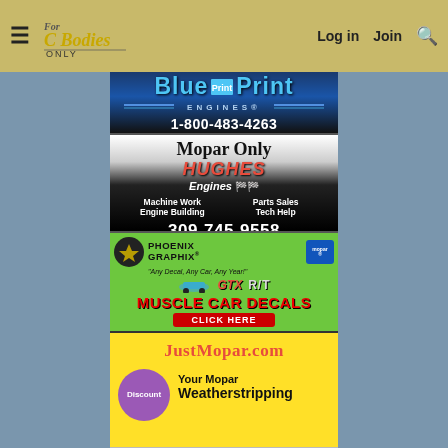For C Bodies Only - Log in | Join | Search
[Figure (advertisement): Blueprint Engines advertisement with blue logo and phone number 1-800-483-4263]
[Figure (advertisement): Hughes Engines Mopar Only advertisement - Machine Work, Parts Sales, Engine Building, Tech Help - 309-745-9558]
[Figure (advertisement): Phoenix Graphix advertisement - Muscle Car Decals - Any Decal, Any Car, Any Year! Click Here]
[Figure (advertisement): JustMopar.com advertisement - Your Mopar Weatherstripping with Discount badge]